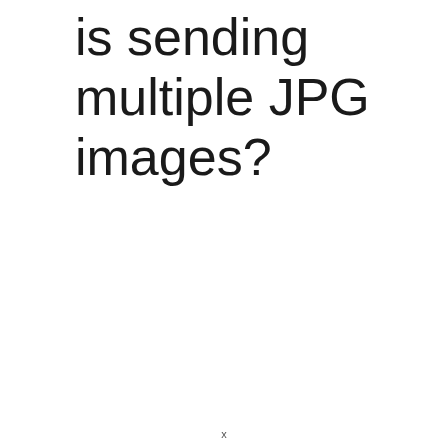is sending multiple JPG images?
x